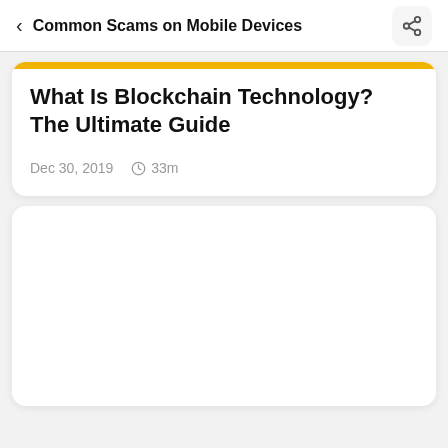Common Scams on Mobile Devices
What Is Blockchain Technology? The Ultimate Guide
Dec 30, 2019   33m
[Figure (other): Blank white card placeholder for a second article]